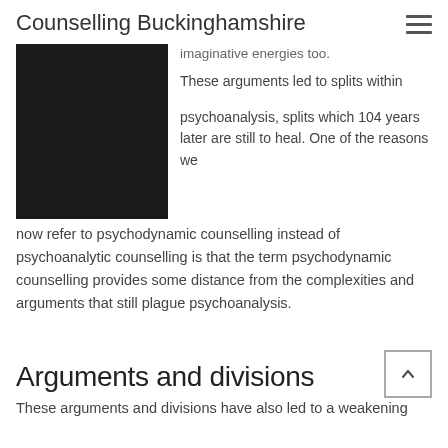Counselling Buckinghamshire
[Figure (photo): Black and white photo of a man in a suit adjusting his tie, shown from chest up with hands raised]
imaginative energies too.  These arguments led to splits within
psychoanalysis, splits which 104 years later are still to heal.  One of the reasons we now refer to psychodynamic counselling instead of psychoanalytic counselling is that the term psychodynamic counselling provides some distance from the complexities and arguments that still plague psychoanalysis.
Arguments and divisions
These arguments and divisions have also led to a weakening